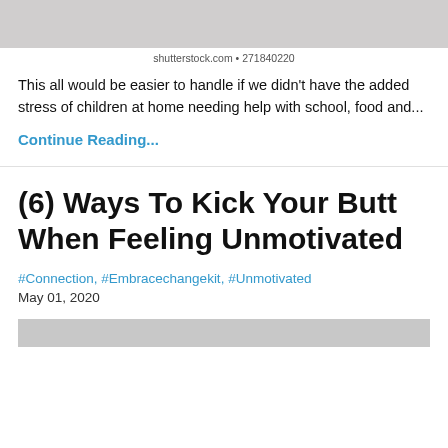[Figure (photo): Cropped photo strip at top of page, showing partial image of people]
shutterstock.com • 271840220
This all would be easier to handle if we didn't have the added stress of children at home needing help with school, food and...
Continue Reading...
(6) Ways To Kick Your Butt When Feeling Unmotivated
#Connection, #Embracechangekit, #Unmotivated
May 01, 2020
[Figure (photo): Partial photo visible at bottom of page]